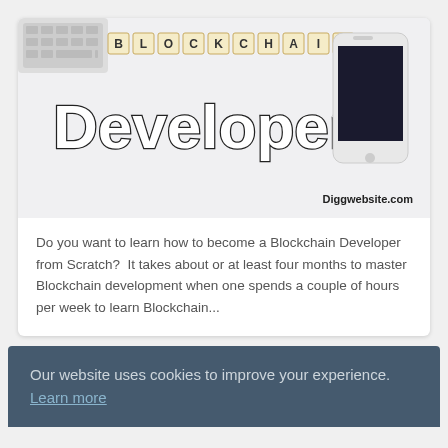[Figure (illustration): Blockchain Developer promotional image with scrabble tiles spelling BLOCKCHAIN, large Developer text, a smartphone, keyboard in background, and Diggwebsite.com watermark]
Do you want to learn how to become a Blockchain Developer from Scratch?  It takes about or at least four months to master Blockchain development when one spends a couple of hours per week to learn Blockchain...
Our website uses cookies to improve your experience. Learn more